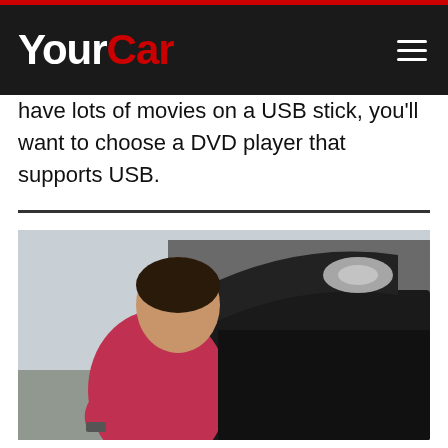YourCar
have lots of movies on a USB stick, you'll want to choose a DVD player that supports USB.
[Figure (photo): Man in a red t-shirt looking into the open boot/trunk of a dark car, photographed outdoors in front of a house]